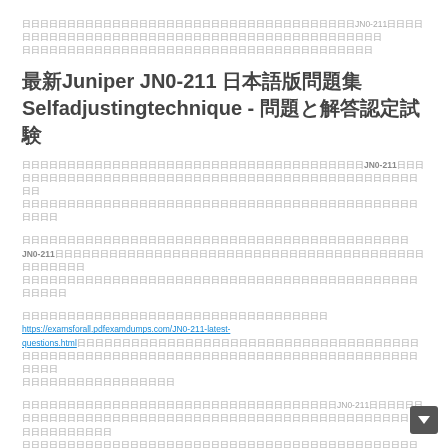日本語テキストJN0-211日本語テキスト日本語テキスト日本語テキスト日本語テキスト日本語テキスト日本語テキスト日本語テキスト日本語テキスト
最新Juniper JN0-211 日本語版問題集 Selfadjustingtechnique - 問題と解答
日本語テキスト日本語テキストJN0-211日本語テキスト日本語テキスト日本語テキスト日本語テキスト日本語テキスト
日本語テキスト日本語テキストJN0-211日本語テキスト日本語テキスト日本語テキスト日本語テキスト日本語テキスト
日本語テキスト日本語テキスト日本語テキスト https://examsforall.pdfexamdumps.com/JN0-211-latest-questions.html 日本語テキスト日本語テキスト日本語テキスト
日本語テキスト日本語テキストJN0-211日本語テキスト日本語テキスト日本語テキスト日本語テキスト
日本語テキストSelfadjustingtechnique JN0-211日本語テキスト日本語テキスト日本語テキスト